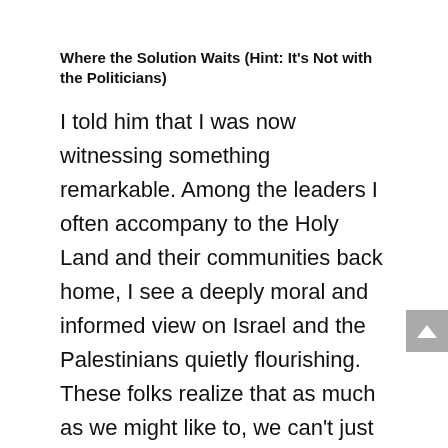Where the Solution Waits (Hint: It's Not with the Politicians)
I told him that I was now witnessing something remarkable. Among the leaders I often accompany to the Holy Land and their communities back home, I see a deeply moral and informed view on Israel and the Palestinians quietly flourishing. These folks realize that as much as we might like to, we can't just throw up our hands and walk away. Yet they also see that for too long the lines of engagement have been drawn too rigid: